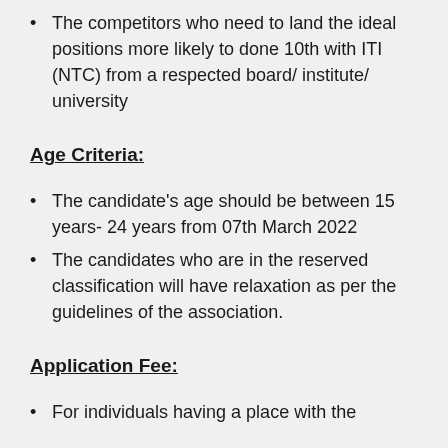The competitors who need to land the ideal positions more likely to done 10th with ITI (NTC) from a respected board/ institute/ university
Age Criteria:
The candidate's age should be between 15 years- 24 years from 07th March 2022
The candidates who are in the reserved classification will have relaxation as per the guidelines of the association.
Application Fee:
For individuals having a place with the